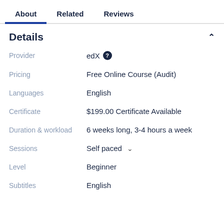About | Related | Reviews
Details
| Field | Value |
| --- | --- |
| Provider | edX |
| Pricing | Free Online Course (Audit) |
| Languages | English |
| Certificate | $199.00 Certificate Available |
| Duration & workload | 6 weeks long, 3-4 hours a week |
| Sessions | Self paced |
| Level | Beginner |
| Subtitles | English |